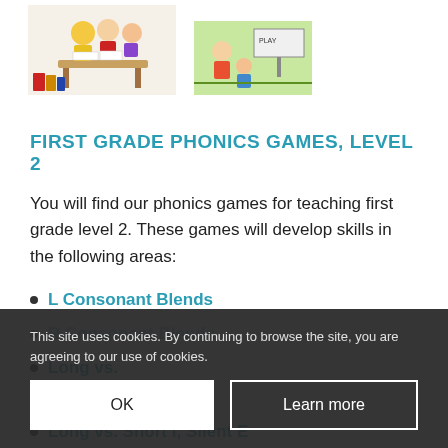[Figure (illustration): Two cartoon illustrations side by side: left shows children around a desk/table with books, right shows a green scene with characters and a play sign]
FIRST GRADE PHONICS GAMES, LEVEL 2
You will find our phonics games for teaching first grade level 2. These games will develop skills in the following areas:
L Consonant Blends
R Consonant Blends
Long vs. [short vowels]
Vowel Digraphs
Long vs. Short i, Silent E
This site uses cookies. By continuing to browse the site, you are agreeing to our use of cookies.